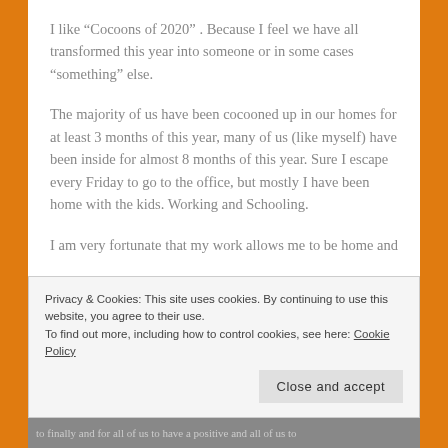I like “Cocoons of 2020” . Because I feel we have all transformed this year into someone or in some cases “something” else.
The majority of us have been cocooned up in our homes for at least 3 months of this year, many of us (like myself) have been inside for almost 8 months of this year. Sure I escape every Friday to go to the office, but mostly I have been home with the kids. Working and Schooling.
I am very fortunate that my work allows me to be home and
Privacy & Cookies: This site uses cookies. By continuing to use this website, you agree to their use.
To find out more, including how to control cookies, see here: Cookie Policy
Close and accept
to finally and for all of us to have a positive and all of us to